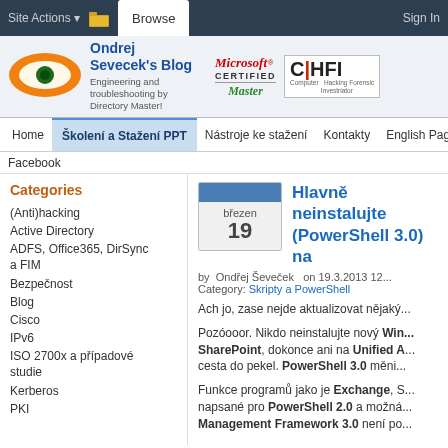Site Actions | Browse | Sign In
Ondrej Sevecek's Blog — Engineering and troubleshooting by Directory Master!
[Figure (logo): Orange eye logo for Ondrej Sevecek's Blog]
[Figure (logo): Microsoft Certified Master logo]
[Figure (logo): CHFI Computer Hacking Forensic Investigator logo]
Navigation: Home | Školení a Stažení PPT | Nástroje ke stažení | Kontakty | English Pages | Facebook
Categories
(Anti)hacking
Active Directory
ADFS, Office365, DirSync a FIM
Bezpečnost
Blog
Cisco
IPv6
ISO 2700x a případové studie
Kerberos
PKI
Hlavně neinstalujte (PowerShell 3.0) na...
by Ondřej Ševeček on 19.3.2013 12... Category: Skripty a PowerShell
Ach jo, zase nejde aktualizovat nějaký...
Pozóooor. Nikdo neinstalujte nový Win... SharePoint, dokonce ani na Unified A... cesta do pekel. PowerShell 3.0 měni...
Funkce programů jako je Exchange, S... napsané pro PowerShell 2.0 a možná... Management Framework 3.0 není po...